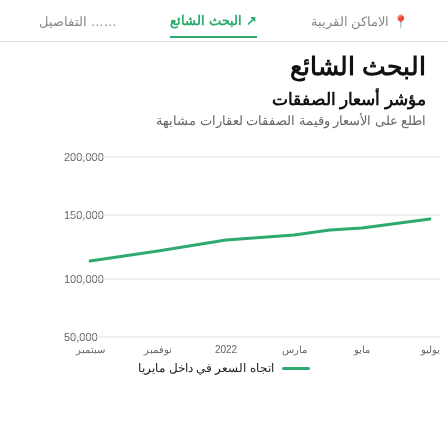التفاصيل | البحث الشائع | الاماكن القريبة
البحث الشائع
مؤشر أسعار الصفقات
اطلع على الأسعار وقيمة الصفقات لعقارات مشابهة
[Figure (line-chart): مؤشر أسعار الصفقات]
اتجاه السعر في داخل مايريا